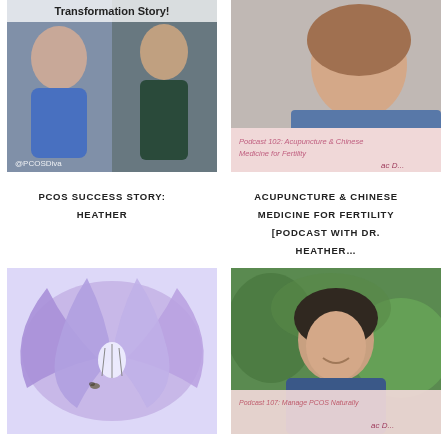[Figure (photo): Before and after photos of a woman named Heather, PCOS transformation story. Left: selfie in blue top. Right: fit woman in black tank. Text overlay: Transformation Story! and @PCOSDiva]
[Figure (photo): Headshot of a woman smiling with brown hair, podcast cover image. Text overlay: Podcast 102: Acupuncture & Chinese Medicine for Fertility]
PCOS SUCCESS STORY: HEATHER
ACUPUNCTURE & CHINESE MEDICINE FOR FERTILITY [PODCAST WITH DR. HEATHER...
[Figure (photo): Close-up photo of purple agapanthus lily flowers]
[Figure (photo): Headshot of a smiling woman with dark hair in front of green foliage. Podcast cover: Podcast 107: Manage PCOS Naturally]
IS LEPTIN RESISTANCE
MANAGE PCOS